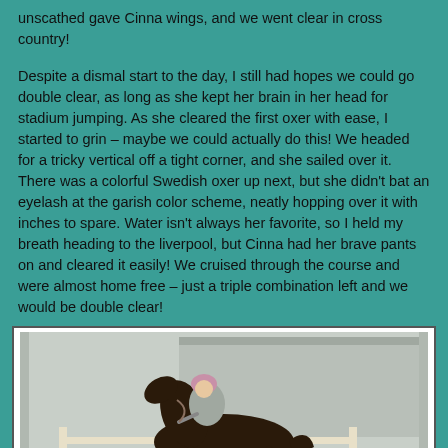unscathed gave Cinna wings, and we went clear in cross country!
Despite a dismal start to the day, I still had hopes we could go double clear, as long as she kept her brain in her head for stadium jumping. As she cleared the first oxer with ease, I started to grin – maybe we could actually do this! We headed for a tricky vertical off a tight corner, and she sailed over it. There was a colorful Swedish oxer up next, but she didn't bat an eyelash at the garish color scheme, neatly hopping over it with inches to spare. Water isn't always her favorite, so I held my breath heading to the liverpool, but Cinna had her brave pants on and cleared it easily! We cruised through the course and were almost home free – just a triple combination left and we would be double clear!
[Figure (photo): A rider in a pink/purple helmet wearing grey jacket riding a dark horse jumping over a white fence/barrier in an outdoor equestrian arena with a grey building in the background.]